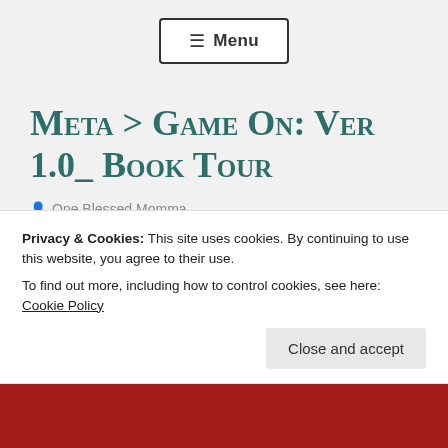☰ Menu
Meta > Game On: Ver 1.0_ Book Tour
One Blessed Momma
Book Tour, books, Bookstagram, Review
April 4, 2022   2 Minutes
Privacy & Cookies: This site uses cookies. By continuing to use this website, you agree to their use.
To find out more, including how to control cookies, see here: Cookie Policy
Close and accept